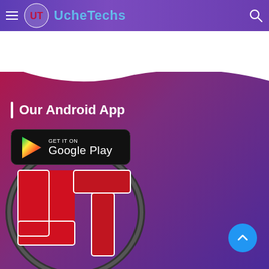UcheTechs
Our Android App
[Figure (logo): Google Play Store badge with play triangle icon, text 'GET IT ON Google Play' on black rounded rectangle background]
[Figure (logo): Large UcheTechs UT logo — circular frame with red block letters U and T, dark outline, on gradient red-purple background]